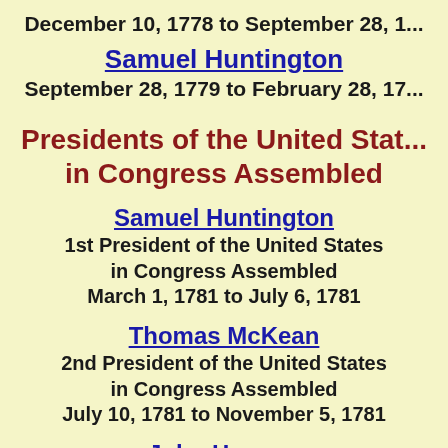December 10, 1778 to September 28, 1...
Samuel Huntington
September 28, 1779 to February 28, 17...
Presidents of the United States in Congress Assembled
Samuel Huntington
1st President of the United States in Congress Assembled
March 1, 1781 to July 6, 1781
Thomas McKean
2nd President of the United States in Congress Assembled
July 10, 1781 to November 5, 1781
John Hanson
3rd President of the United States in Congress Assembled